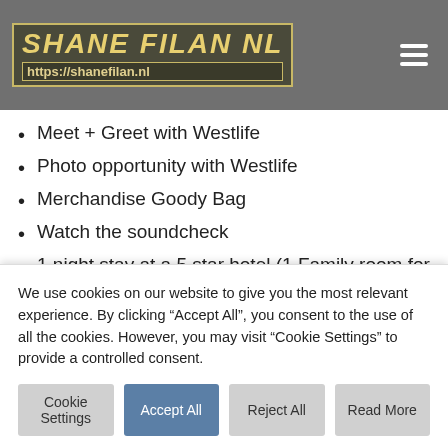SHANE FILAN NL https://shanefilan.nl
Meet + Greet with Westlife
Photo opportunity with Westlife
Merchandise Goody Bag
Watch the soundcheck
1 night stay at a 5 star hotel (1 Family room for up to 5 members)
Please read instructions on how to enter below.
To be in with a chance to win this amazing prize
We use cookies on our website to give you the most relevant experience. By clicking “Accept All”, you consent to the use of all the cookies. However, you may visit "Cookie Settings" to provide a controlled consent.